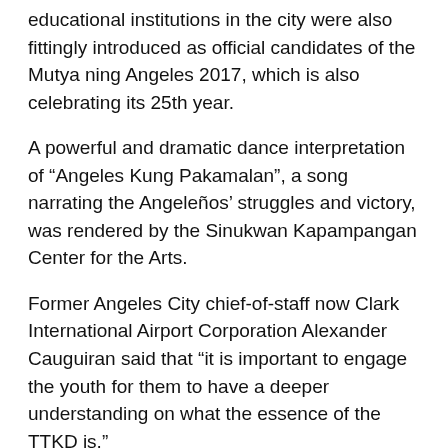educational institutions in the city were also fittingly introduced as official candidates of the Mutya ning Angeles 2017, which is also celebrating its 25th year.
A powerful and dramatic dance interpretation of “Angeles Kung Pakamalan”, a song narrating the Angeleños’ struggles and victory, was rendered by the Sinukwan Kapampangan Center for the Arts.
Former Angeles City chief-of-staff now Clark International Airport Corporation Alexander Cauguiran said that “it is important to engage the youth for them to have a deeper understanding on what the essence of the TTKD is.”
“TTKD is more than just singing, dancing and drinking for we resonate the Angeleño spirit of unity and resilience to the rest of the world,” said Cauguiran, who is also considered one of the pillars of the yearly festival.
Meanwhile, a traditional ceremonial toast led by Mayor